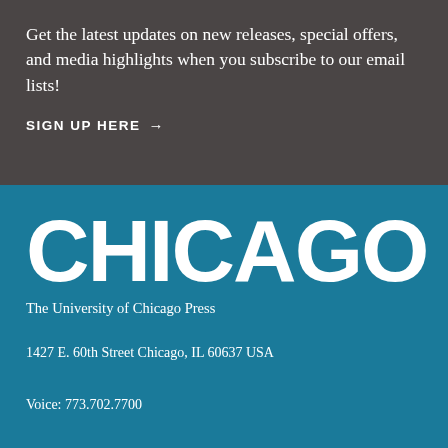Get the latest updates on new releases, special offers, and media highlights when you subscribe to our email lists!
SIGN UP HERE →
[Figure (logo): University of Chicago Press logo: large white 'CHICAGO' text with 'The University of Chicago Press' subtitle on teal background]
1427 E. 60th Street Chicago, IL 60637 USA
Voice: 773.702.7700
Fax: 773.702.9756